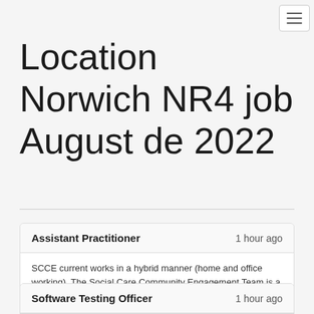hamburger menu button
Location Norwich NR4 job August de 2022
Assistant Practitioner — 1 hour ago
SCCE current works in a hybrid manner (home and office working). The Social Care Community Engagement Team is a telephone-based service which is at the…
Norfolk County Council
Norwich NR1
Apply
Software Testing Officer — 1 hour ago